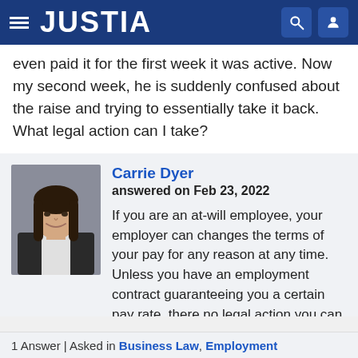JUSTIA
even paid it for the first week it was active. Now my second week, he is suddenly confused about the raise and trying to essentially take it back. What legal action can I take?
[Figure (photo): Headshot photo of Carrie Dyer, a woman with long dark hair, wearing a dark blazer, smiling against a neutral background.]
Carrie Dyer
answered on Feb 23, 2022

If you are an at-will employee, your employer can changes the terms of your pay for any reason at any time. Unless you have an employment contract guaranteeing you a certain pay rate, there no legal action you can take.
1 Answer | Asked in Business Law, Employment